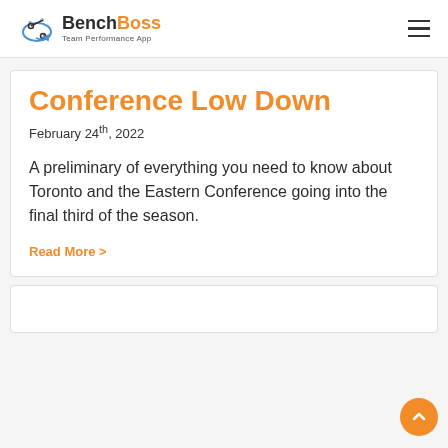BenchBoss Team Performance App
Conference Low Down
February 24th, 2022
A preliminary of everything you need to know about Toronto and the Eastern Conference going into the final third of the season.
Read More >